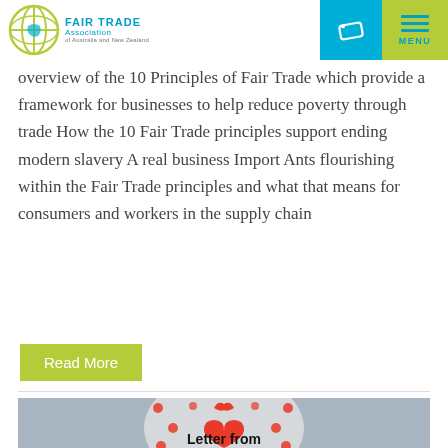Fair Trade Association
overview of the 10 Principles of Fair Trade which provide a framework for businesses to help reduce poverty through trade How the 10 Fair Trade principles support ending modern slavery A real business Import Ants flourishing within the Fair Trade principles and what that means for consumers and workers in the supply chain
Read More
[Figure (photo): Decorative image with red heart and dots pattern with text 'Letter from']